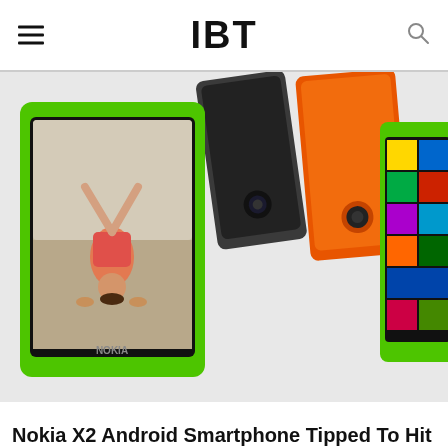IBT
[Figure (photo): Multiple Nokia X2 Android smartphones in green, orange, and dark gray/black colors, displayed at angles showing both front and back surfaces. The front-facing green phone displays a person doing a handstand on the screen.]
Nokia X2 Android Smartphone Tipped To Hit India